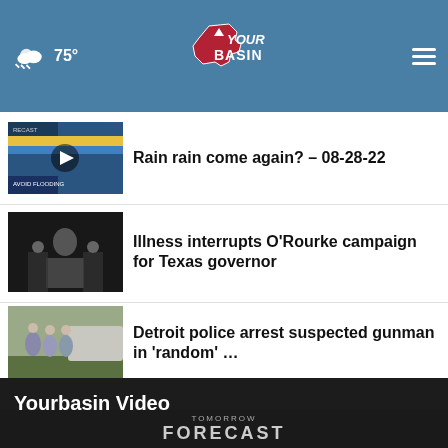75° YourBasin
[Figure (screenshot): Thumbnail for Rain rain come again news segment with play button overlay]
Rain rain come again? – 08-28-22
[Figure (photo): Photo of O'Rourke at campaign event]
Illness interrupts O’Rourke campaign for Texas governor
[Figure (photo): Photo related to Detroit police arrest story]
Detroit police arrest suspected gunman in ‘random’ …
More Stories ›
Yourbasin Video
TOMORROW
FORECAST